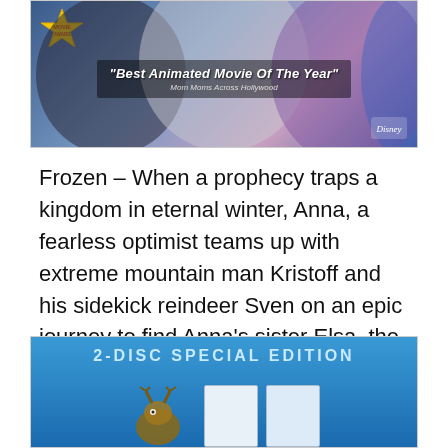[Figure (photo): Top portion of a Frozen movie product image showing animated characters, a movie award badge star, and text overlay reading 'Best Animated Movie Of The Year' from Moms Across Hollywood]
Frozen – When a prophecy traps a kingdom in eternal winter, Anna, a fearless optimist teams up with extreme mountain man Kristoff and his sidekick reindeer Sven on an epic journey to find Anna's sister Elsa, the Snow Queen, and put an end to her icy spell.
[Figure (photo): Bottom portion of a product image showing '2-DISC SPECIAL EDITION' text on a blue Blu-ray case with animated animal characters visible at bottom]